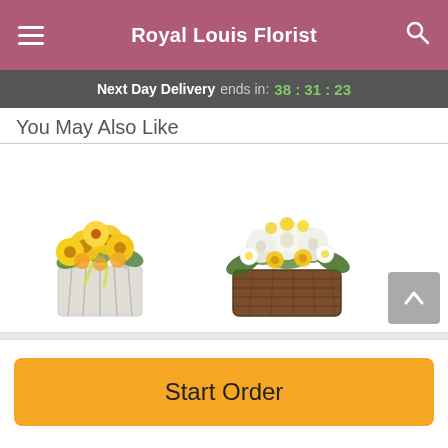Royal Louis Florist
Next Day Delivery ends in: 38:31:23
You May Also Like
[Figure (photo): Two flower basket arrangements side by side. Left: yellow gerbera daisies and roses in a white wooden basket with a yellow bow. Right: white lilies, yellow roses, and mixed flowers in a brown wicker basket.]
Start Order